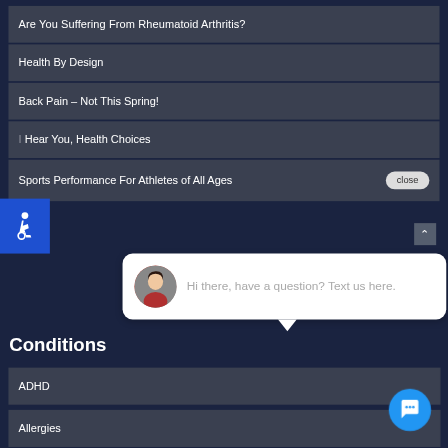Are You Suffering From Rheumatoid Arthritis?
Health By Design
Back Pain – Not This Spring!
I Hear You, Health Choices
Sports Performance For Athletes of All Ages
Conditions
ADHD
Allergies
[Figure (screenshot): Chat widget bubble with avatar photo of woman and text: Hi there, have a question? Text us here.]
[Figure (screenshot): Accessibility wheelchair icon button (blue square, top left)]
[Figure (screenshot): Blue circular chat icon button (bottom right)]